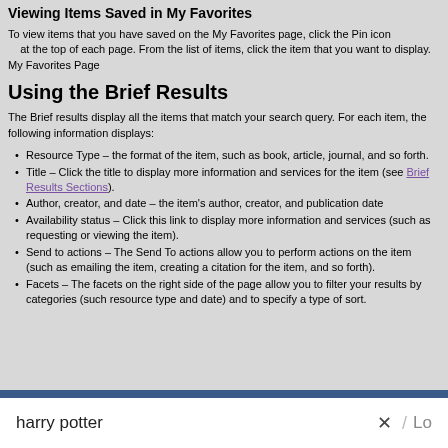Viewing Items Saved in My Favorites
To view items that you have saved on the My Favorites page, click the Pin icon at the top of each page. From the list of items, click the item that you want to display.
My Favorites Page
Using the Brief Results
The Brief results display all the items that match your search query. For each item, the following information displays:
Resource Type – the format of the item, such as book, article, journal, and so forth.
Title – Click the title to display more information and services for the item (see Brief Results Sections).
Author, creator, and date – the item's author, creator, and publication date
Availability status – Click this link to display more information and services (such as requesting or viewing the item).
Send to actions – The Send To actions allow you to perform actions on the item (such as emailing the item, creating a citation for the item, and so forth).
Facets – The facets on the right side of the page allow you to filter your results by categories (such resource type and date) and to specify a type of sort.
[Figure (screenshot): Screenshot showing a search bar with the text 'harry potter' and an X button to clear the search, with a 'Lo' text visible on the right edge.]